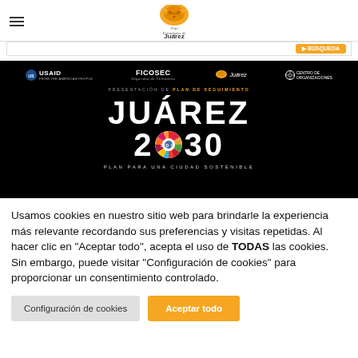Plan Estratégico de Juárez — navigation header with logo
[Figure (screenshot): Juárez 2030 banner: black background with USAID, FICOSEC, Plan Estratégico de Juárez, and Centro de Organizaciones logos. Title reads JUÁREZ 2030 PLAN PARA UNA CIUDAD SOSTENIBLE]
Usamos cookies en nuestro sitio web para brindarle la experiencia más relevante recordando sus preferencias y visitas repetidas. Al hacer clic en "Aceptar todo", acepta el uso de TODAS las cookies. Sin embargo, puede visitar "Configuración de cookies" para proporcionar un consentimiento controlado.
Configuración de cookies | Aceptar todo